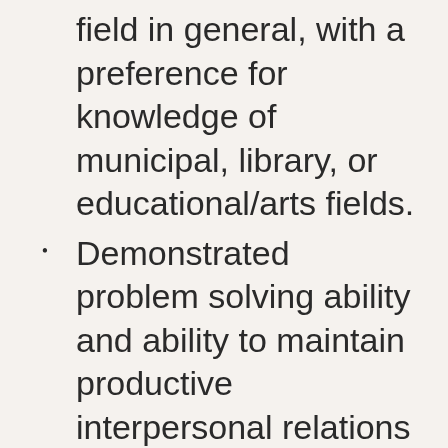field in general, with a preference for knowledge of municipal, library, or educational/arts fields.
Demonstrated problem solving ability and ability to maintain productive interpersonal relations in a complex and changing environment. Strong project management skills. Integrity, initiative, judgment, discretion, dependability and ability to work under pressure and deadlines